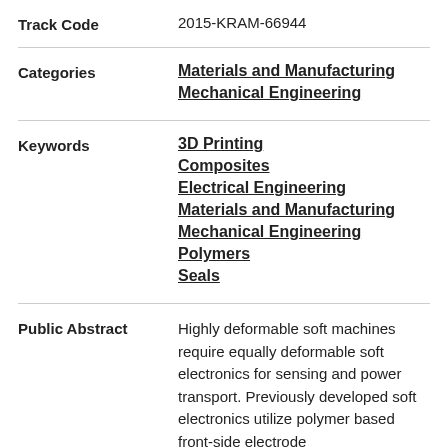| Track Code | 2015-KRAM-66944 |
| Categories | Materials and Manufacturing
Mechanical Engineering |
| Keywords | 3D Printing
Composites
Electrical Engineering
Materials and Manufacturing
Mechanical Engineering
Polymers
Seals |
| Public Abstract | Highly deformable soft machines require equally deformable soft electronics for sensing and power transport. Previously developed soft electronics utilize polymer based front-side electrode |